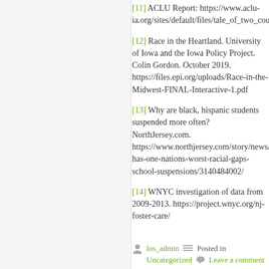[11] ACLU Report: https://www.aclu-ia.org/sites/default/files/tale_of_two_countries_racially_t…
[12] Race in the Heartland. University of Iowa and the Iowa Policy Project. Colin Gordon. October 2019. https://files.epi.org/uploads/Race-in-the-Midwest-FINAL-Interactive-1.pdf
[13] Why are black, hispanic students suspended more often? NorthJersey.com. https://www.northjersey.com/story/news/education/2019… has-one-nations-worst-racial-gaps-school-suspensions/3140484002/
[14] WNYC investigation of data from 2009-2013. https://project.wnyc.org/nj-foster-care/
los_admin   Posted in   Uncategorized   Leave a comment